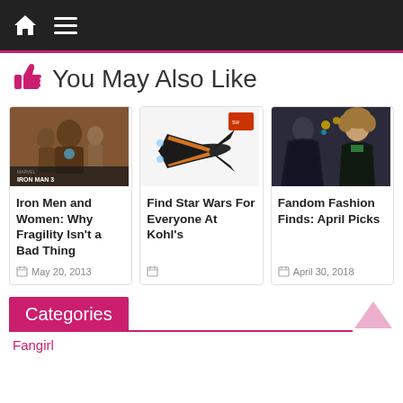Navigation bar with home and menu icons
You May Also Like
[Figure (photo): Iron Man 3 movie poster with characters]
Iron Men and Women: Why Fragility Isn't a Bad Thing
May 20, 2013
[Figure (photo): Star Wars X-Wing fighter model/toy]
Find Star Wars For Everyone At Kohl's
[Figure (photo): Fandom fashion costumes with accessories]
Fandom Fashion Finds: April Picks
April 30, 2018
Categories
Fangirl